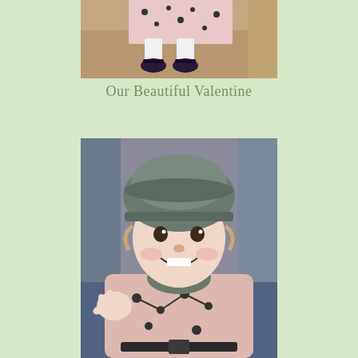[Figure (photo): Close-up photo of a child's feet/shoes and the bottom of a floral dress, standing on carpet near furniture]
Our Beautiful Valentine
[Figure (photo): Portrait photo of a smiling baby/toddler wearing a grey beret hat and a pink floral jacket, waving hand]